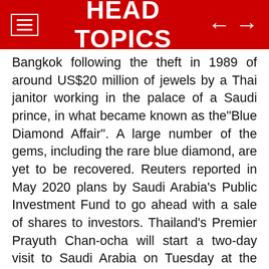HEAD TOPICS
Bangkok following the theft in 1989 of around US$20 million of jewels by a Thai janitor working in the palace of a Saudi prince, in what became known as the"Blue Diamond Affair". A large number of the gems, including the rare blue diamond, are yet to be recovered. Reuters reported in May 2020 plans by Saudi Arabia's Public Investment Fund to go ahead with a sale of shares to investors. Thailand's Premier Prayuth Chan-ocha will start a two-day visit to Saudi Arabia on Tuesday at the invitation of Saudi Crown Prince Mohammed bin Salman, the Saudi ministry said in a statement on Sunday. Elm, fully owned by the Public Investment Fund, provides secure e-business services and information technology, as well as project support services and government project outsourcing in Saudi Arabia, according to its website. "The visit comes amid consultations that led to bringing views closer on issues of common interest," the ministry said. Subscribe to